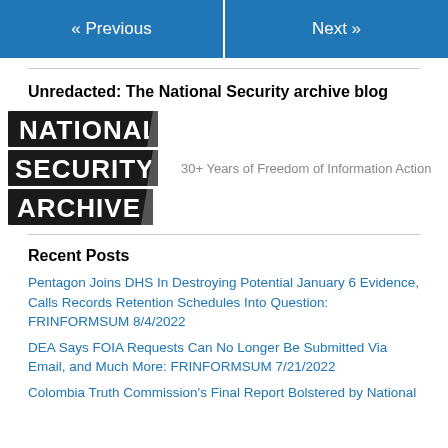« Previous   Next »
Unredacted: The National Security archive blog
[Figure (logo): National Security Archive logo — three stacked black bars with white bold text: NATIONAL, SECURITY, ARCHIVE. Tagline: 30+ Years of Freedom of Information Action]
Recent Posts
Pentagon Joins DHS In Destroying Potential January 6 Evidence, Calls Records Retention Schedules Into Question: FRINFORMSUM 8/4/2022
DEA Says FOIA Requests Can No Longer Be Submitted Via Email, and Much More: FRINFORMSUM 7/21/2022
Colombia Truth Commission's Final Report Bolstered by National